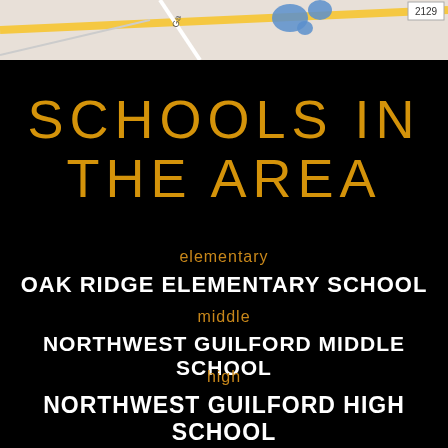[Figure (map): Partial map view showing roads and blue highlighted areas, with number 2129 visible in top-right corner]
SCHOOLS IN THE AREA
elementary
OAK RIDGE ELEMENTARY SCHOOL
middle
NORTHWEST GUILFORD MIDDLE SCHOOL
high
NORTHWEST GUILFORD HIGH SCHOOL